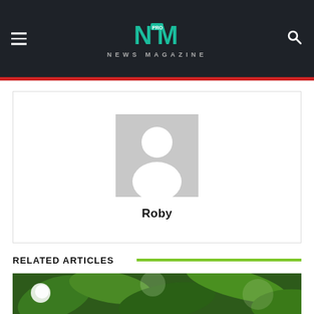NEWS MAGAZINE
[Figure (illustration): User profile placeholder avatar with gray background showing silhouette of a person]
Roby
RELATED ARTICLES
[Figure (photo): Photo of green leaves and white flowers, blurred background]